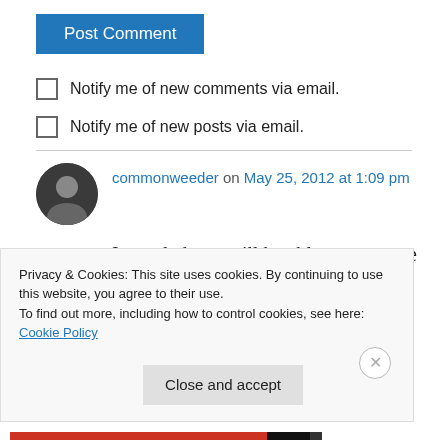[Figure (other): Blue 'Post Comment' button]
Notify me of new comments via email.
Notify me of new posts via email.
commonweeder on May 25, 2012 at 1:09 pm
I am glad you will be able to get more beautiful photos. Last year I dropped my camera during a FLing tour. No more photos that day. Fortunately
Privacy & Cookies: This site uses cookies. By continuing to use this website, you agree to their use.
To find out more, including how to control cookies, see here: Cookie Policy
[Figure (other): Close and accept button for cookie banner]